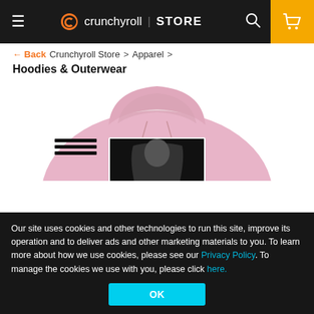Crunchyroll | STORE
← Back   Crunchyroll Store > Apparel >
Hoodies & Outerwear
[Figure (photo): Pink hoodie with anime graphic print on the back, shown from the back/rear view against a white background.]
Our site uses cookies and other technologies to run this site, improve its operation and to deliver ads and other marketing materials to you. To learn more about how we use cookies, please see our Privacy Policy. To manage the cookies we use with you, please click here.